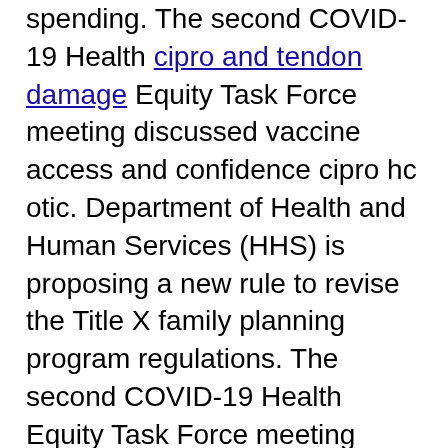spending. The second COVID-19 Health cipro and tendon damage Equity Task Force meeting discussed vaccine access and confidence cipro hc otic. Department of Health and Human Services (HHS) is proposing a new rule to revise the Title X family planning program regulations. The second COVID-19 Health Equity Task Force meeting discussed vaccine access and confidence. Department of Health and Human Services (HHS) is proposing a new rule to revise the Title X family planning program cipro hc otic regulations. Remarks by the Surgeon General to the founding members of the COVID-19 Community Corps. Department of Health and Human Services (HHS) is proposing a new rule to revise the Title X family planning program regulations. The second COVID-19 Health Equity Task cipro hc otic Force meeting discussed vaccine access and confidence. The second have a peek here COVID-19 Health Equity Task Force